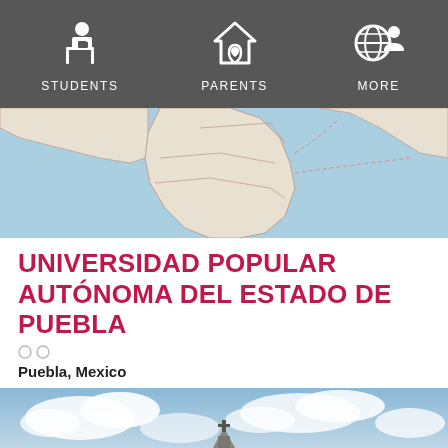STUDENTS   PARENTS   MORE
[Figure (map): World map showing South America and Atlantic Ocean region, used as location illustration for the university]
UNIVERSIDAD POPULAR AUTÓNOMA DEL ESTADO DE PUEBLA
Puebla, Mexico
[Figure (photo): Photo of a church or cathedral tower in Puebla, Mexico against a cloudy blue sky]